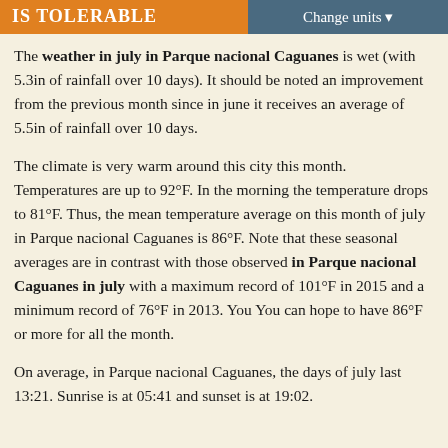IS TOLERABLE
Change units ▾
The weather in july in Parque nacional Caguanes is wet (with 5.3in of rainfall over 10 days). It should be noted an improvement from the previous month since in june it receives an average of 5.5in of rainfall over 10 days.
The climate is very warm around this city this month. Temperatures are up to 92°F. In the morning the temperature drops to 81°F. Thus, the mean temperature average on this month of july in Parque nacional Caguanes is 86°F. Note that these seasonal averages are in contrast with those observed in Parque nacional Caguanes in july with a maximum record of 101°F in 2015 and a minimum record of 76°F in 2013. You You can hope to have 86°F or more for all the month.
On average, in Parque nacional Caguanes, the days of july last 13:21. Sunrise is at 05:41 and sunset is at 19:02.